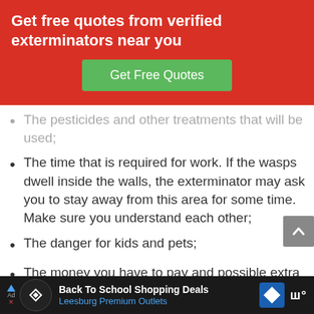[Figure (infographic): Red banner with white text 'Get free quotes from verified exterminators near you' and a green 'Get Free Quotes' button]
The pesticides and other treatments that will be used; (partial, top cut off)
The time that is required for work. If the wasps dwell inside the walls, the exterminator may ask you to stay away from this area for some time. Make sure you understand each other;
The danger for kids and pets;
The money you have to pay and possible extra expenses;
[Figure (infographic): Advertisement bar at bottom: Back To School Shopping Deals - Leesburg Premium Outlets, with navigation diamond icon and wm logo]